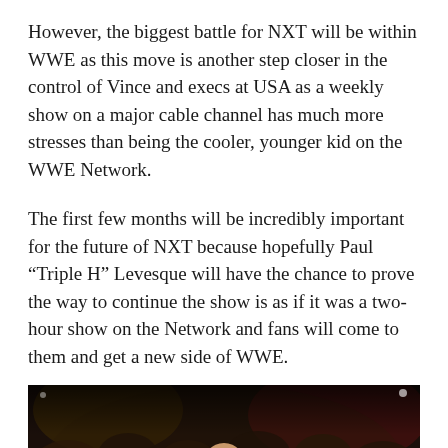However, the biggest battle for NXT will be within WWE as this move is another step closer in the control of Vince and execs at USA as a weekly show on a major cable channel has much more stresses than being the cooler, younger kid on the WWE Network.
The first few months will be incredibly important for the future of NXT because hopefully Paul “Triple H” Levesque will have the chance to prove the way to continue the show is as if it was a two-hour show on the Network and fans will come to them and get a new side of WWE.
[Figure (photo): A bald man in a dark suit holding a microphone stands in a WWE NXT ring, with a crowd visible in the background and yellow ring ropes at the bottom of the frame.]